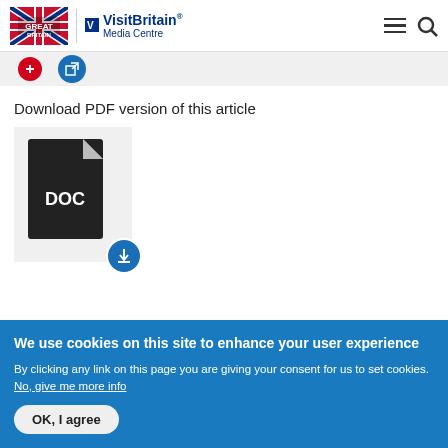VisitBritain Media Centre
[Figure (screenshot): Partial grey strip with red circle icon and blue external link circle icon]
Download PDF version of this article
[Figure (illustration): DOC file icon on grey card background with blue download circle button]
We use cookies on this site to enhance your user experience
By clicking any link on this page you are giving your consent for us to set cookies. No, give me more info
OK, I agree